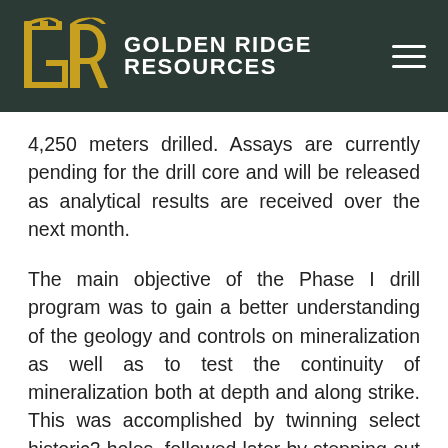GOLDEN RIDGE RESOURCES
4,250 meters drilled. Assays are currently pending for the drill core and will be released as analytical results are received over the next month.
The main objective of the Phase I drill program was to gain a better understanding of the geology and controls on mineralization as well as to test the continuity of mineralization both at depth and along strike. This was accomplished by twinning select historic2 holes, followed later by stepping out along